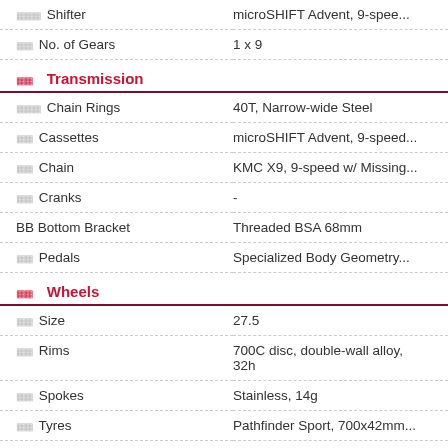| Component | Specification |
| --- | --- |
| Shifter | microSHIFT Advent, 9-spee... |
| No. of Gears | 1 x 9 |
| Transmission |  |
| Chain Rings | 40T, Narrow-wide Steel |
| Cassettes | microSHIFT Advent, 9-speed... |
| Chain | KMC X9, 9-speed w/ Missing... |
| Cranks | - |
| BB Bottom Bracket | Threaded BSA 68mm |
| Pedals | Specialized Body Geometry... |
| Wheels |  |
| Size | 27.5 |
| Rims | 700C disc, double-wall alloy, 32h |
| Spokes | Stainless, 14g |
| Tyres | Pathfinder Sport, 700x42mm... |
| Front Hubs | Alloy, 6-bolt disc, loose ball b... |